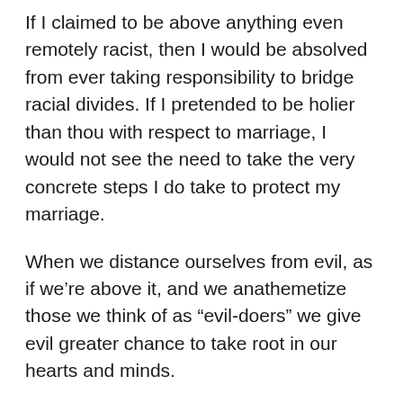If I claimed to be above anything even remotely racist, then I would be absolved from ever taking responsibility to bridge racial divides. If I pretended to be holier than thou with respect to marriage, I would not see the need to take the very concrete steps I do take to protect my marriage.
When we distance ourselves from evil, as if we’re above it, and we anathemetize those we think of as “evil-doers” we give evil greater chance to take root in our hearts and minds.
But looking more squarely at subtler forms of evil and recognizing a downward spiral before it starts can be tremendous opportunities for growth for ourselves, our relationships, and the communities of which we are a part.
I don’t know about you, but I don’t want to just pretend to be good. I want to submit myself to scrutiny so that I can